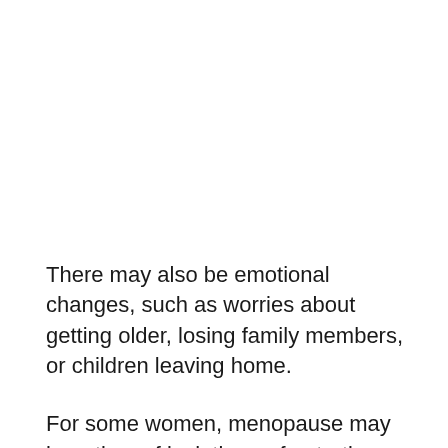There may also be emotional changes, such as worries about getting older, losing family members, or children leaving home.
For some women, menopause may be a time of isolation or frustration. Family and friends may not always understand what youre going through, or give you the support you need. If youre having trouble coping, it is possible to develop anxiety or depression.